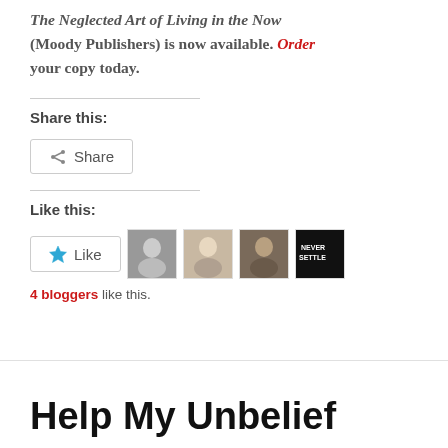John's latest book Practicing the Present: The Neglected Art of Living in the Now (Moody Publishers) is now available. Order your copy today.
Share this:
[Figure (screenshot): Share button with share icon]
Like this:
[Figure (screenshot): Like button with star icon and 4 blogger avatars]
4 bloggers like this.
Help My Unbelief